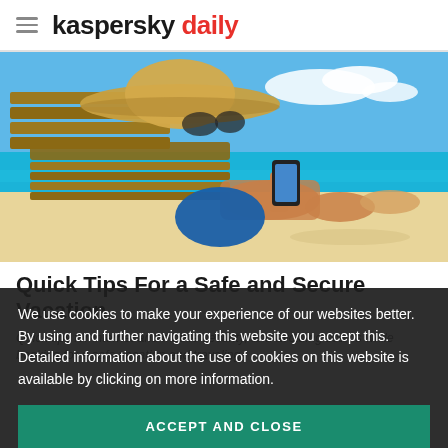kaspersky daily
[Figure (photo): Woman in a straw hat sitting on a beach lounger, looking at her smartphone. Tropical beach with blue ocean and blue sky in the background.]
Quick Tips For a Safe and Secure Vacation
Quick tips for internet and mobile security, and avoiding scams while booking for a safe vacation and traveling.
We use cookies to make your experience of our websites better. By using and further navigating this website you accept this. Detailed information about the use of cookies on this website is available by clicking on more information.
ACCEPT AND CLOSE
May 27, 2014